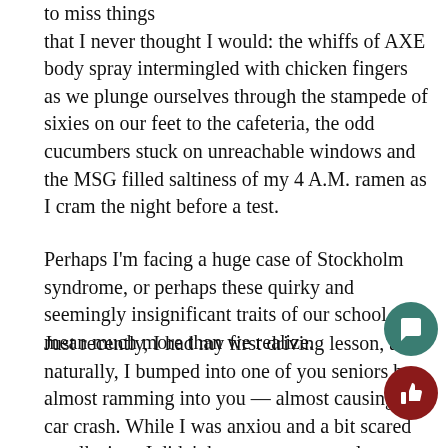to miss things that I never thought I would: the whiffs of AXE body spray intermingled with chicken fingers as we plunge ourselves through the stampede of sixies on our feet to the cafeteria, the odd cucumbers stuck on unreachable windows and the MSG filled saltiness of my 4 A.M. ramen as I cram the night before a test.
Perhaps I'm facing a huge case of Stockholm syndrome, or perhaps these quirky and seemingly insignificant traits of our school mean much more than we realize.
Just recently, I had my first driving lesson, and naturally, I bumped into one of you seniors by almost ramming into you — almost causing a car crash. While I was anxious and a bit scared to talk since I didn't know you very well, a pleasant conversation littered full of BLS references, memories and our futures emerged, and I realized that whom you've never talked to in your six years at BLS wi...